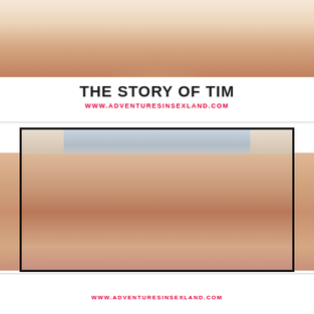[Figure (photo): Cropped photo showing person from torso, sepia/warm tone]
THE STORY OF TIM
WWW.ADVENTURESINSEXLAND.COM
[Figure (photo): Composite image with top half showing person in denim shorts and black leggings, bottom half showing person from behind in black underwear, warm tan tones. Overlaid with white band containing bold title text.]
THE STORY OF BEN
WWW.ADVENTURESINSEXLAND.COM